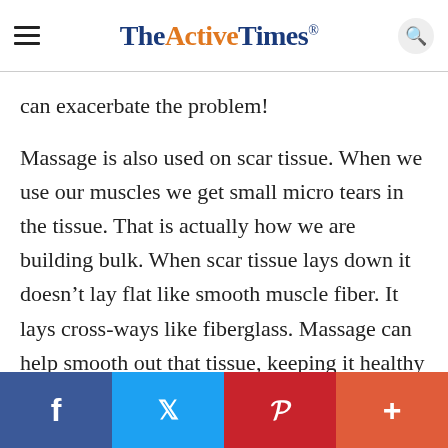The Active Times
can exacerbate the problem!
Massage is also used on scar tissue. When we use our muscles we get small micro tears in the tissue. That is actually how we are building bulk. When scar tissue lays down it doesn’t lay flat like smooth muscle fiber. It lays cross-ways like fiberglass. Massage can help smooth out that tissue, keeping it healthy and suppler.
f  Twitter  P  +